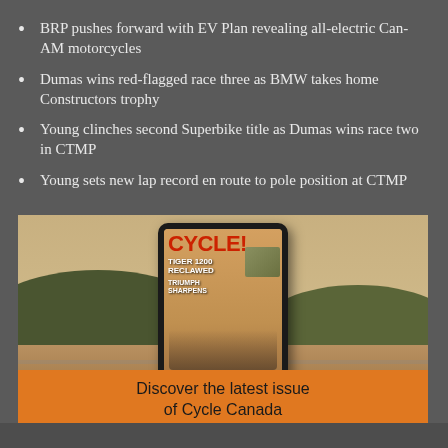BRP pushes forward with EV Plan revealing all-electric Can-AM motorcycles
Dumas wins red-flagged race three as BMW takes home Constructors trophy
Young clinches second Superbike title as Dumas wins race two in CTMP
Young sets new lap record en route to pole position at CTMP
[Figure (illustration): Magazine tablet display showing Cycle Canada cover with orange banner reading 'Discover the latest issue of Cycle Canada']
Discover the latest issue of Cycle Canada